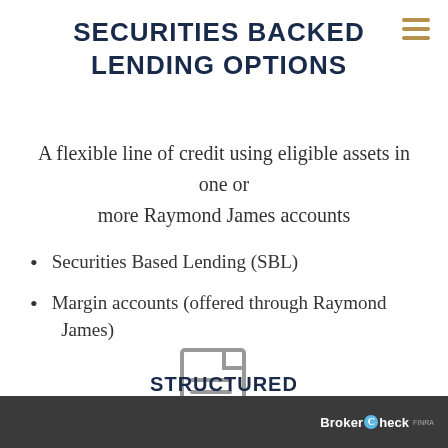SECURITIES BACKED LENDING OPTIONS
A flexible line of credit using eligible assets in one or more Raymond James accounts
Securities Based Lending (SBL)
Margin accounts (offered through Raymond James)
[Figure (illustration): Document with pencil/edit icon in gray outline style]
STRUCTURED LENDING
BrokerCheck